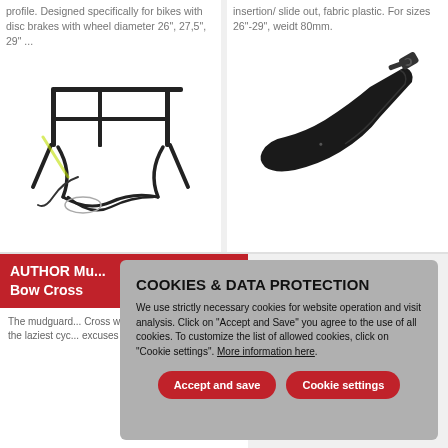profile. Designed specifically for bikes with disc brakes with wheel diameter 26", 27,5", 29" ...
[Figure (photo): Black bicycle rear rack/carrier for disc brake bikes]
insertion/ slide out, fabric plastic. For sizes 26"-29", weidt 80mm.
[Figure (photo): Black bike mudguard/fender with mounting attachment]
AUTHOR Mu... Bow Cross
The mudguard... Cross with fas... system on sea... the laziest cyc... excuses to arri...
COOKIES & DATA PROTECTION
We use strictly necessary cookies for website operation and visit analysis. Click on "Accept and Save" you agree to the use of all cookies. To customize the list of allowed cookies, click on "Cookie settings". More information here.
Accept and save
Cookie settings